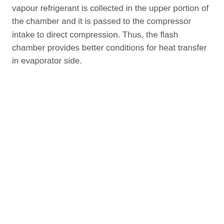vapour refrigerant is collected in the upper portion of the chamber and it is passed to the compressor intake to direct compression. Thus, the flash chamber provides better conditions for heat transfer in evaporator side.